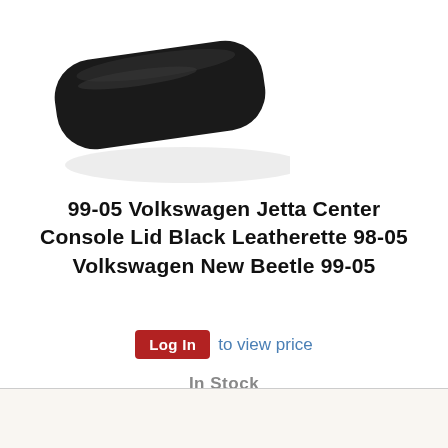[Figure (photo): Black leatherette center console lid, rounded rectangular shape, photographed from above on white background]
99-05 Volkswagen Jetta Center Console Lid Black Leatherette 98-05 Volkswagen New Beetle 99-05
Log In to view price
In Stock
[Figure (photo): Tan/beige leatherette center console lid, partially visible at bottom of page]